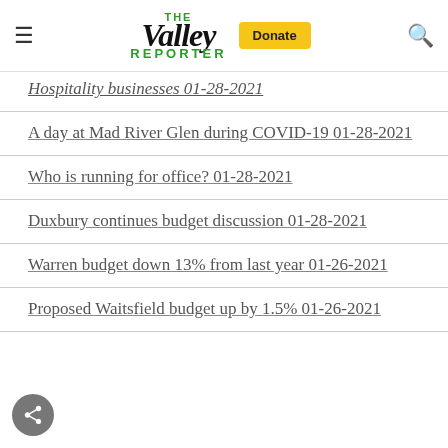The Valley Reporter
Hospitality businesses 01-28-2021
A day at Mad River Glen during COVID-19 01-28-2021
Who is running for office? 01-28-2021
Duxbury continues budget discussion 01-28-2021
Warren budget down 13% from last year 01-26-2021
Proposed Waitsfield budget up by 1.5% 01-26-2021